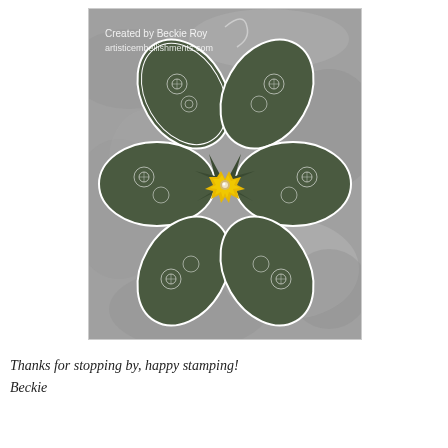[Figure (photo): A handmade paper flower ornament with green patterned petals (white filigree designs on dark green) arranged in a circular bloom, with a yellow star-shaped flower at the center. The ornament has a wire or string loop at the top for hanging. It rests on a gray stone background. Watermark text reads 'Created by Beckie Roy artisticembellishments.com'.]
Thanks for stopping by, happy stamping!
Beckie